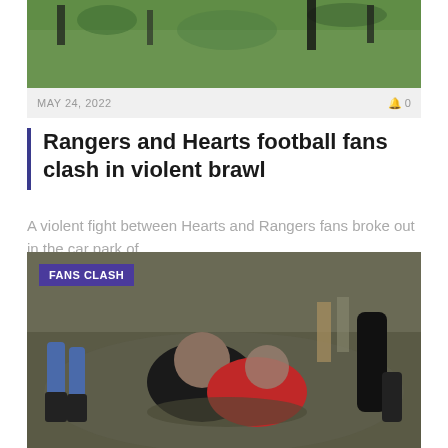[Figure (photo): Video still of people running on grass, top portion of a brawl video]
MAY 24, 2022   0 0
Rangers and Hearts football fans clash in violent brawl
A violent fight between Hearts and Rangers fans broke out in the car park of...
[Figure (photo): Video still showing football fans fighting on grass, with 'FANS CLASH' label overlay, one person in red shirt being tackled to ground by person in black jacket]